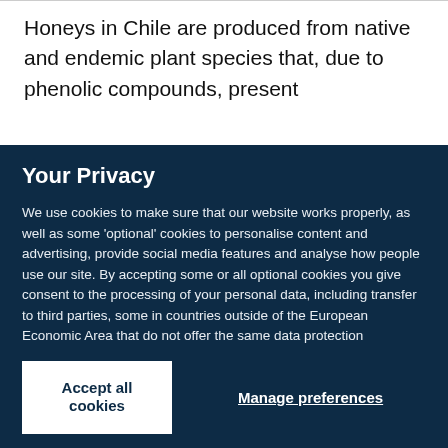Honeys in Chile are produced from native and endemic plant species that, due to phenolic compounds, present
Your Privacy
We use cookies to make sure that our website works properly, as well as some 'optional' cookies to personalise content and advertising, provide social media features and analyse how people use our site. By accepting some or all optional cookies you give consent to the processing of your personal data, including transfer to third parties, some in countries outside of the European Economic Area that do not offer the same data protection standards as the country where you live. You can decide which optional cookies to accept by clicking on 'Manage Settings', where you can also find more information about how your personal data is processed. Further information can be found in our privacy policy.
Accept all cookies
Manage preferences